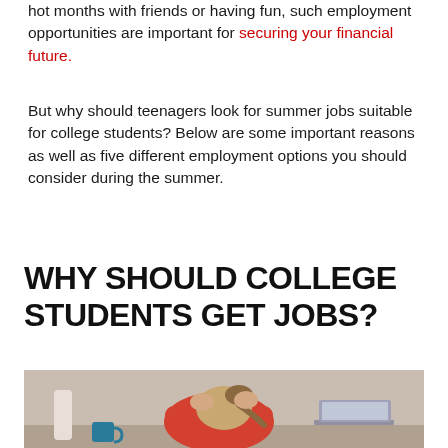hot months with friends or having fun, such employment opportunities are important for securing your financial future.
But why should teenagers look for summer jobs suitable for college students? Below are some important reasons as well as five different employment options you should consider during the summer.
WHY SHOULD COLLEGE STUDENTS GET JOBS?
[Figure (photo): A stressed young woman with blonde hair in a red shirt sitting at a desk with a laptop, leaning forward with her head in her hands.]